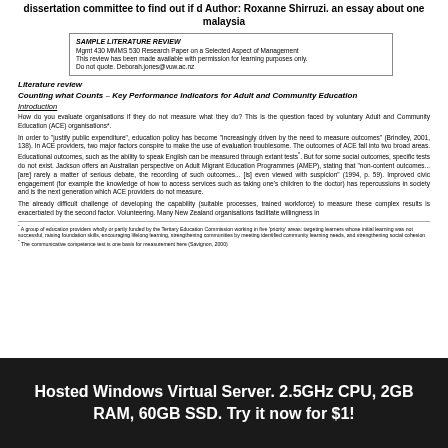dissertation committee to find out if d Author: Roxanne Shirruzi. an essay about one malaysia
| SAMPLE LITERATURE REVIEW |
| Mgmt 430 MMMS 530 Research Paper on a Selected Aspect of Management |
| This review has been made available with permission for learning purposes only. |
| Do not quote. Deborah.jones@vuw.ac.nz |
Literature review
Counting what Counts - Key Performance Indicators for Adult and Community Education
Introduction
How do you evaluate organisations if they do not measure what they do? This is the question faced by voluntary Adult and Community Education (ACE) organisations*.
In order to "justify public expenditure", education policy has become "increasingly driven by the need to measure outcomes" (Brindley, 2001, 138). In ACE providers, two major factors conspire to make the use of evaluation troublesome. The outcomes of ACE fall into two broad areas. Educational outcomes, such as the ability to speak English can be measured through extant tests*. But for some social outcomes, specific tests do not exist. Jackson offers an Australian perspective on Adult Migrant Education Programmes (AMEP), stating that "non-content outcomes... [are] rarely a matter of serious debate, the recording of such outcomes... [is] even viewed with suspicion" (1994, p. 59). Improved civic engagement (for example the knowledge of how to access services such as taking one's children to the doctor) has repercussions in society and is the next generation which ACE providers do not measure.
The already difficult challenge of developing the capability (suitable processes, trained workforce) to measure these complex results is exacerbated by the second factor. Volunteering. Many New Zealand organisations facilitate willingness in
* A group of education providers wholly or partly funded by the Tertiary Education Commission working in five 'priority' areas: targeting learners whose initial learning was not successful, raising foundation skills, encouraging lifelong learning, strengthening communities by meeting identified community learning needs, and strengthening social cohesion
* The communicative competence test is one basis for measurement here (Savignon, 2000)
Hosted Windows Virtual Server. 2.5GHz CPU, 2GB RAM, 60GB SSD. Try it now for $1!